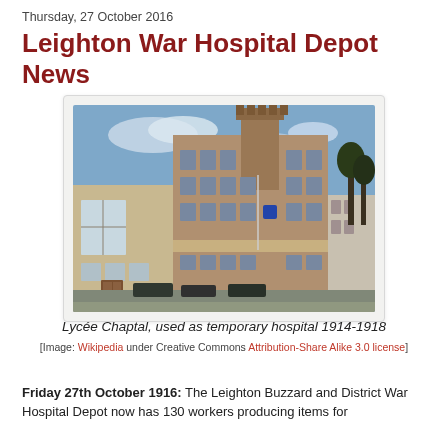Thursday, 27 October 2016
Leighton War Hospital Depot News
[Figure (photo): Photograph of Lycée Chaptal building, a large historic stone and brick building with a tower, used as a temporary hospital 1914-1918]
Lycée Chaptal, used as temporary hospital 1914-1918
[Image: Wikipedia under Creative Commons Attribution-Share Alike 3.0 license]
Friday 27th October 1916: The Leighton Buzzard and District War Hospital Depot now has 130 workers producing items for